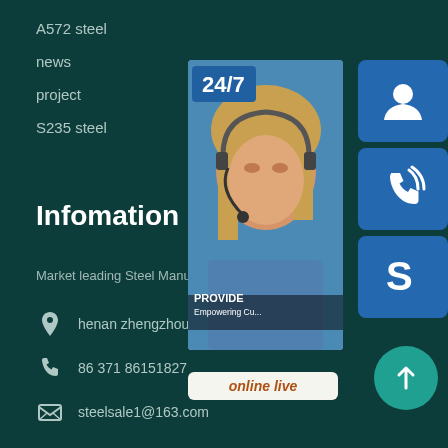A572 steel
news
project
S235 steel
Infomation
Market leading Steel Manufacturer
henan zhengzhou
86 371 86151827
steelsale1@163.com
[Figure (infographic): Customer service infographic showing a woman with headset, 24/7 label, blue icon buttons for chat/phone/skype, 'PROVIDE Empowering Cu...' text, and an 'online live' button. A teal circle with up arrow at bottom right.]